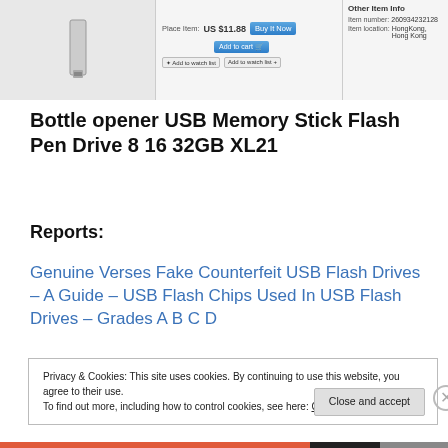[Figure (screenshot): Screenshot of an eBay product listing page showing a USB flash drive product with price US $11.88, Buy It Now and Add to cart buttons, and Other Item Info panel with item number 260934232128 and item location Hong Kong, Hong Kong]
Bottle opener USB Memory Stick Flash Pen Drive 8 16 32GB XL21
Reports:
Genuine Verses Fake Counterfeit USB Flash Drives – A Guide – USB Flash Chips Used In USB Flash Drives – Grades A B C D
Privacy & Cookies: This site uses cookies. By continuing to use this website, you agree to their use.
To find out more, including how to control cookies, see here: Cookie Policy